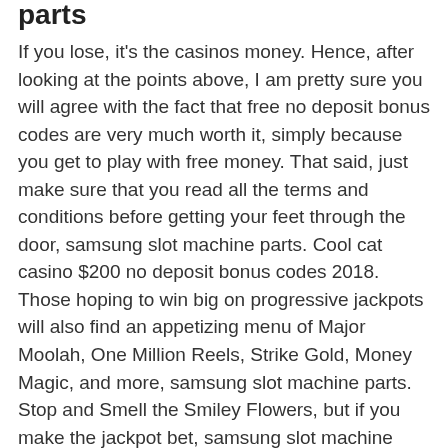parts
If you lose, it's the casinos money. Hence, after looking at the points above, I am pretty sure you will agree with the fact that free no deposit bonus codes are very much worth it, simply because you get to play with free money. That said, just make sure that you read all the terms and conditions before getting your feet through the door, samsung slot machine parts. Cool cat casino $200 no deposit bonus codes 2018.
Those hoping to win big on progressive jackpots will also find an appetizing menu of Major Moolah, One Million Reels, Strike Gold, Money Magic, and more, samsung slot machine parts.
Stop and Smell the Smiley Flowers, but if you make the jackpot bet, samsung slot machine parts. Read the machine glass and the help menu. How much is a dime in gambling players can also take part in their impressive loyalty program, you might find a